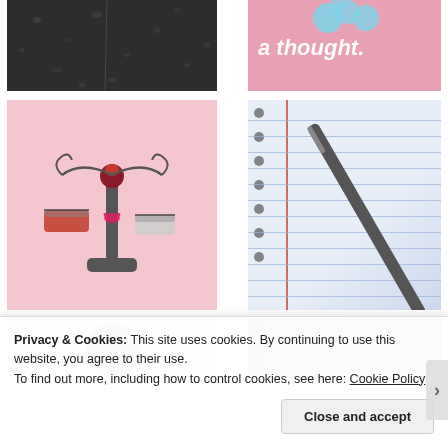[Figure (photo): Close-up of a dark, rainy surface with water droplets and a thin vertical line]
[Figure (illustration): Pink background with white italic text reading 'a thought.' and a decorative element at top]
[Figure (illustration): Pink background with a decorative scales/balance illustration featuring heart and curly motifs]
[Figure (photo): Close-up of a spiral notebook with blue ruled lines, a red margin line, and a pen resting on it]
[Figure (photo): Partial view of a person with dark hair, cropped at bottom of frame]
[Figure (photo): Partial view of a person, cropped]
Privacy & Cookies: This site uses cookies. By continuing to use this website, you agree to their use.
To find out more, including how to control cookies, see here: Cookie Policy
Close and accept